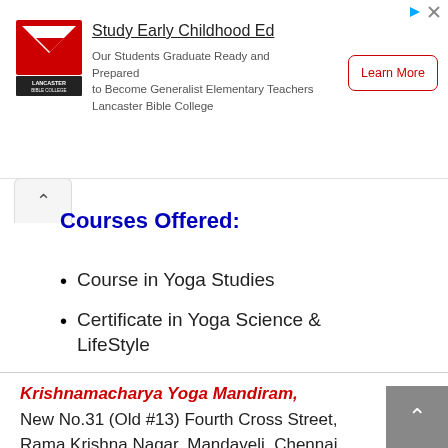[Figure (logo): Lancaster Bible College logo with red and white geometric design]
Study Early Childhood Ed
Our Students Graduate Ready and Prepared to Become Generalist Elementary Teachers Lancaster Bible College
Learn More
Courses Offered:
Course in Yoga Studies
Certificate in Yoga Science & LifeStyle
Krishnamacharya Yoga Mandiram,
New No.31 (Old #13) Fourth Cross Street, Rama Krishna Nagar, Mandaveli, Chennai – 600 028